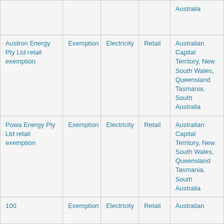|  |  |  |  | Australia |
| Austron Energy Pty Ltd retail exemption | Exemption | Electricity | Retail | Australian Capital Territory, New South Wales, Queensland Tasmania, South Australia |
| Powa Energy Pty Ltd retail exemption | Exemption | Electricity | Retail | Australian Capital Territory, New South Wales, Queensland Tasmania, South Australia |
| 100 | Exemption | Electricity | Retail | Australian |